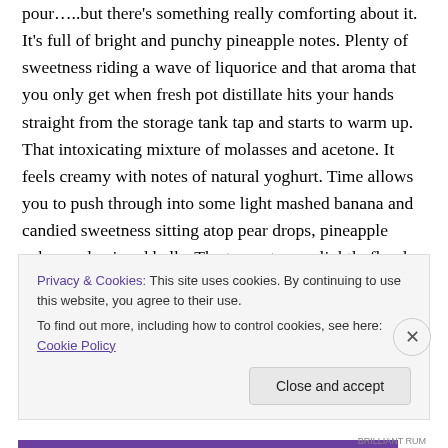pour…..but there's something really comforting about it. It's full of bright and punchy pineapple notes. Plenty of sweetness riding a wave of liquorice and that aroma that you only get when fresh pot distillate hits your hands straight from the storage tank tap and starts to warm up. That intoxicating mixture of molasses and acetone. It feels creamy with notes of natural yoghurt. Time allows you to push through into some light mashed banana and candied sweetness sitting atop pear drops, pineapple cubes and aniseed balls. The top notes are lightly floral but always
Privacy & Cookies: This site uses cookies. By continuing to use this website, you agree to their use.
To find out more, including how to control cookies, see here: Cookie Policy
Close and accept